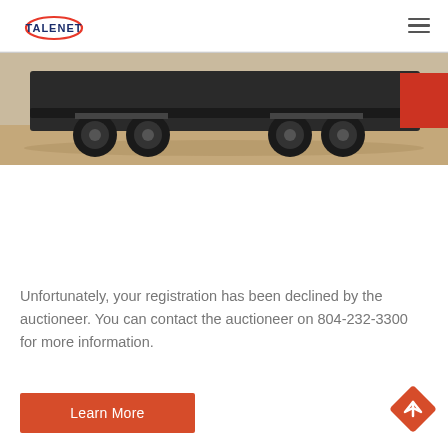TALENET
[Figure (photo): Bottom view of a heavy truck/vehicle undercarriage parked on sandy ground, showing wheels, axles and chassis]
Unfortunately, your registration has been declined by the auctioneer. You can contact the auctioneer on 804-232-3300 for more information.